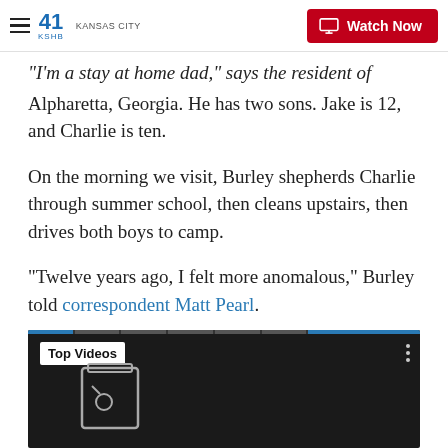41 KSHB KANSAS CITY | Watch Now
“I’m a stay at home dad,” says the resident of Alpharetta, Georgia. He has two sons. Jake is 12, and Charlie is ten.
On the morning we visit, Burley shepherds Charlie through summer school, then cleans upstairs, then drives both boys to camp.
“Twelve years ago, I felt more anomalous,” Burley told correspondent Matt Pearl.
[Figure (screenshot): Dark video player with 'Top Videos' label, progress bar segments at top, and a film icon overlay. Three-dot menu in upper right.]